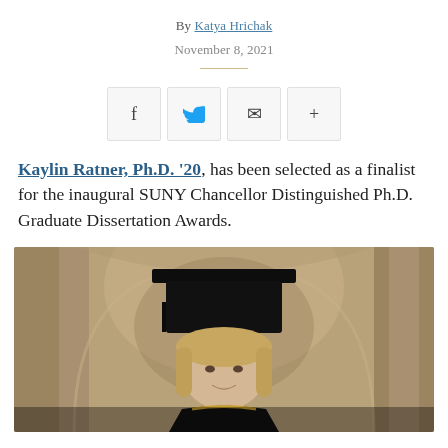By Katya Hrichak
November 8, 2021
[Figure (infographic): Social sharing buttons: Facebook (f), Twitter (bird icon), Email (envelope), More (+)]
Kaylin Ratner, Ph.D. '20, has been selected as a finalist for the inaugural SUNY Chancellor Distinguished Ph.D. Graduate Dissertation Awards.
[Figure (photo): A woman wearing a black doctoral graduation cap and gown, smiling, photographed in front of a stone archway building.]